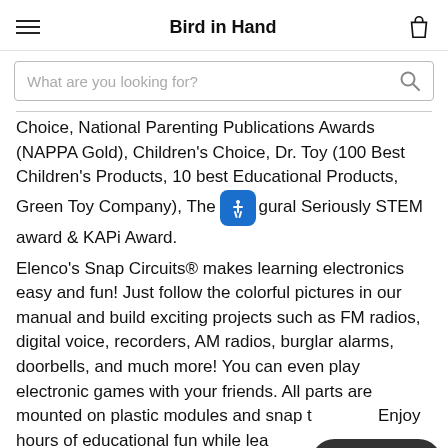Bird in Hand
Choice, National Parenting Publications Awards (NAPPA Gold), Children's Choice, Dr. Toy (100 Best Children's Products, 10 best Educational Products, Green Toy Company), The inaugural Seriously STEM award & KAPi Award.
Elenco's Snap Circuits® makes learning electronics easy and fun! Just follow the colorful pictures in our manual and build exciting projects such as FM radios, digital voice, recorders, AM radios, burglar alarms, doorbells, and much more! You can even play electronic games with your friends. All parts are mounted on plastic modules and snap together. Enjoy hours of educational fun while learning about electronics. Snap Circuits® is endorsed by educators and is also used in school libraries as a STEM